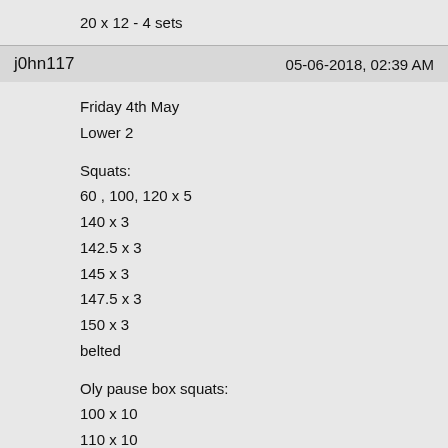20 x 12 - 4 sets
j0hn117
05-06-2018, 02:39 AM
Friday 4th May
Lower 2

Squats:
60 , 100, 120 x 5
140 x 3
142.5 x 3
145 x 3
147.5 x 3
150 x 3
belted

Oly pause box squats:
100 x 10
110 x 10
115 x 10
120 x 12

SLDL:
100 x 6
110 x 6